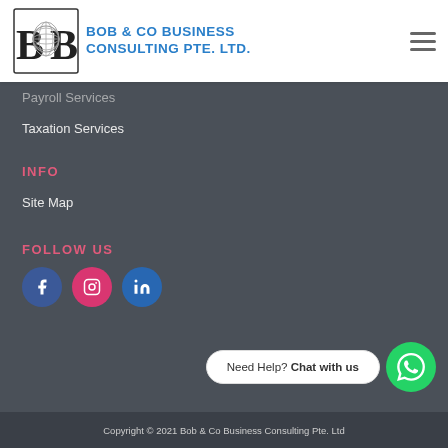[Figure (logo): Bob & Co Business Consulting Pte. Ltd. logo with globe icon and blue text]
Payroll Services
Taxation Services
INFO
Site Map
FOLLOW US
[Figure (illustration): Social media icons: Facebook (blue circle), Instagram (pink/red circle), LinkedIn (blue circle)]
Need Help? Chat with us
Copyright © 2021 Bob & Co Business Consulting Pte. Ltd